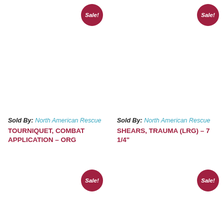[Figure (other): Sale! badge circle top-left product area]
Sold By: North American Rescue
TOURNIQUET, COMBAT APPLICATION – ORG
[Figure (other): Sale! badge circle top-right product area]
Sold By: North American Rescue
SHEARS, TRAUMA (LRG) – 7 1/4"
[Figure (other): Sale! badge circle bottom-left product area]
[Figure (other): Sale! badge circle bottom-right product area]